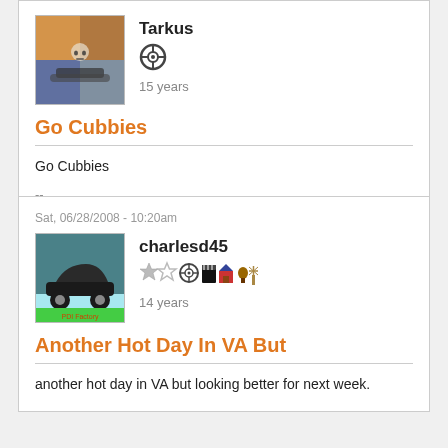Tarkus
15 years
Go Cubbies
Go Cubbies
--
Go Blackhawks
Sat, 06/28/2008 - 10:20am
charlesd45
14 years
Another Hot Day In VA But
another hot day in VA but looking better for next week.